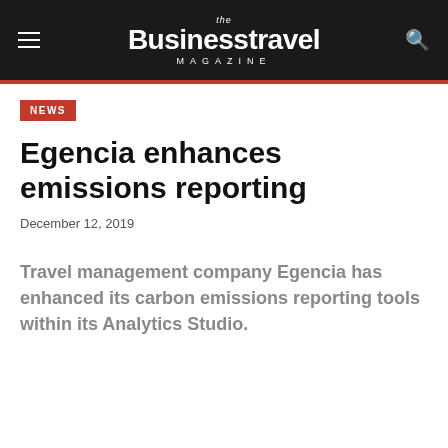the Businesstravel MAGAZINE
NEWS
Egencia enhances emissions reporting
December 12, 2019
Travel management company Egencia has enhanced its carbon emissions reporting tools within its Analytics Studio.